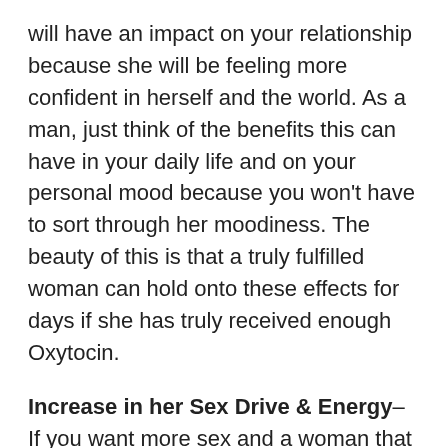will have an impact on your relationship because she will be feeling more confident in herself and the world. As a man, just think of the benefits this can have in your daily life and on your personal mood because you won't have to sort through her moodiness. The beauty of this is that a truly fulfilled woman can hold onto these effects for days if she has truly received enough Oxytocin.
Increase in her Sex Drive & Energy– If you want more sex and a woman that simply has more energy, then Oxytocin is where it is at! When women are low on Oxytocin, they have low libidos and often report feeling physically drained. But, a woman that is saturated in this hormone is ravenous in the bedroom. These chemicals will also linger in the